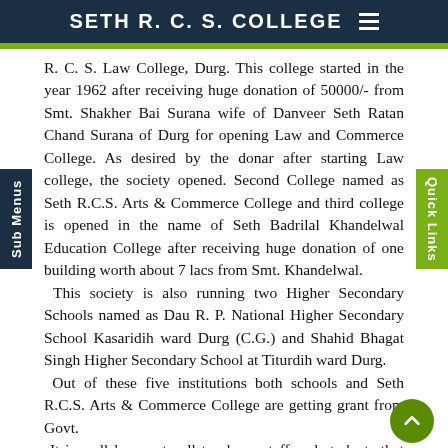SETH R. C. S. COLLEGE
R. C. S. Law College, Durg. This college started in the year 1962 after receiving huge donation of 50000/- from Smt. Shakher Bai Surana wife of Danveer Seth Ratan Chand Surana of Durg for opening Law and Commerce College. As desired by the donar after starting Law college, the society opened. Second College named as Seth R.C.S. Arts & Commerce College and third college is opened in the name of Seth Badrilal Khandelwal Education College after receiving huge donation of one building worth about 7 lacs from Smt. Khandelwal.
 This society is also running two Higher Secondary Schools named as Dau R. P. National Higher Secondary School Kasaridih ward Durg (C.G.) and Shahid Bhagat Singh Higher Secondary School at Titurdih ward Durg.
 Out of these five institutions both schools and Seth R.C.S. Arts & Commerce College are getting grant from Govt.
 It is well known to all teachers, staff and students that Seth R. C. S. Arts & Commerce College and other institutions mentioned above are governed and regulated by the District Education Society Durg. All the teachers, employees and students co-operate each others to run the institutions smoothly. All teachers always help the students not only in